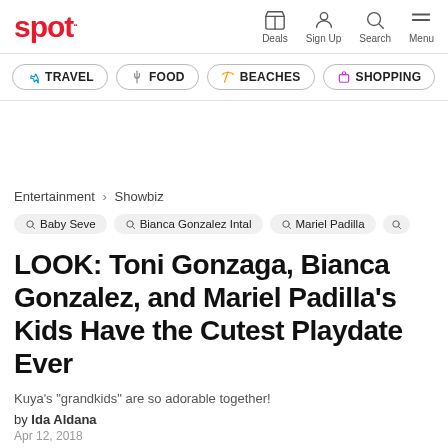spot. | Deals | Sign Up | Search | Menu
TRAVEL | FOOD | BEACHES | SHOPPING
Entertainment > Showbiz
Baby Seve | Bianca Gonzalez Intal | Mariel Padilla
LOOK: Toni Gonzaga, Bianca Gonzalez, and Mariel Padilla's Kids Have the Cutest Playdate Ever
Kuya's "grandkids" are so adorable together!
by Ida Aldana
Apr 12, 2018